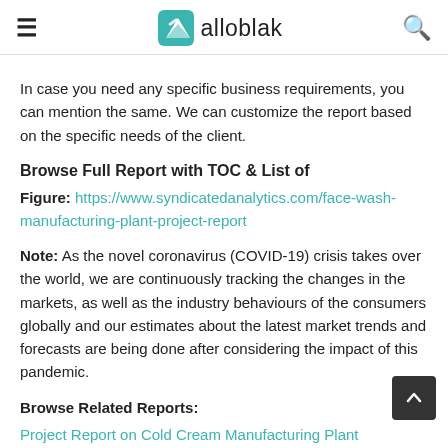alloblak
In case you need any specific business requirements, you can mention the same. We can customize the report based on the specific needs of the client.
Browse Full Report with TOC & List of Figure: https://www.syndicatedanalytics.com/face-wash-manufacturing-plant-project-report
Note: As the novel coronavirus (COVID-19) crisis takes over the world, we are continuously tracking the changes in the markets, as well as the industry behaviours of the consumers globally and our estimates about the latest market trends and forecasts are being done after considering the impact of this pandemic.
Browse Related Reports:
Project Report on Cold Cream Manufacturing Plant